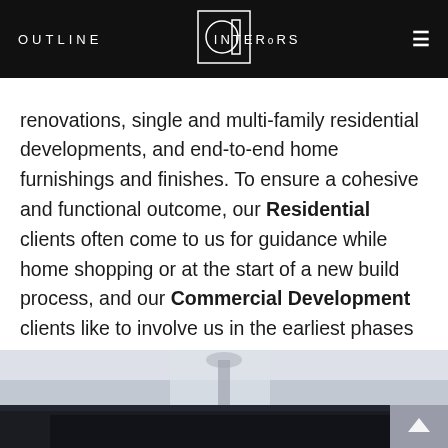OUTLINE INTERIORS
renovations, single and multi-family residential developments, and end-to-end home furnishings and finishes. To ensure a cohesive and functional outcome, our Residential clients often come to us for guidance while home shopping or at the start of a new build process, and our Commercial Development clients like to involve us in the earliest phases of establishing their vision pre-construction.
[Figure (photo): Interior room photo showing ceiling with a chandelier/light fixture, dark trim and white ceiling visible at bottom of page]